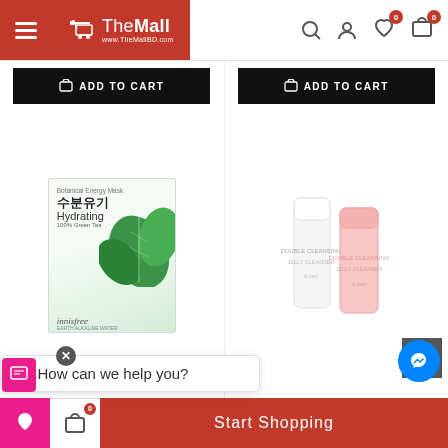The Mall — www.TheMallBD.com — navigation header with menu, search, user, wishlist (0), cart (0)
[Figure (screenshot): ADD TO CART black button with cart icon for product 1]
[Figure (screenshot): ADD TO CART black button with cart icon for product 2]
[Figure (photo): Innisfree Hydrating Green Tea face mask sheet product image with Korean text and leaves]
NEW ARRIVAL
[Figure (photo): Pink and white skincare tube product (Dr.Peel brand)]
NEW ARRIVAL
( 0 reviews )
( 0 reviews )
Hi! How can we help you?
Start Shopping